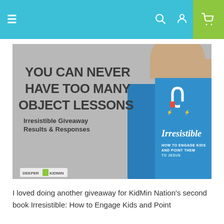Navigation bar with hamburger menu, search, user, and cart icons
[Figure (photo): Book promotional image showing the book 'Irresistible: How to Engage Kids and Point Them to Jesus' with text overlay: 'YOU CAN NEVER HAVE TOO MANY OBJECT LESSONS — Irresistible Giveaway Results & Responses'. DeeperKidMin branding at bottom left.]
I loved doing another giveaway for KidMin Nation's second book Irresistible: How to Engage Kids and Point